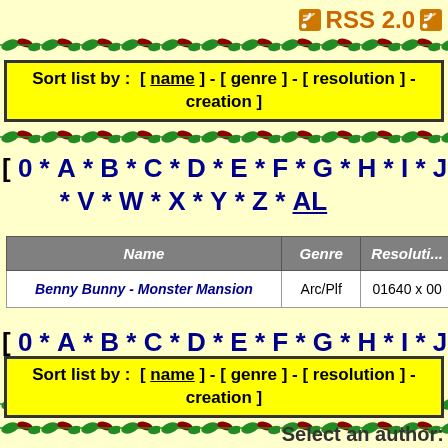RSS 2.0
[Figure (other): Decorative vine/leaf divider border]
Sort list by : [ name ] - [ genre ] - [ resolution ] - creation ]
[Figure (other): Decorative vine/leaf divider border]
[ 0 * A * B * C * D * E * F * G * H * I * J * K * L * M * V * W * X * Y * Z * AL
| Name | Genre | Resolution |
| --- | --- | --- |
| Benny Bunny - Monster Mansion | Arc/Plf | 01640 x 00 |
[ 0 * A * B * C * D * E * F * G * H * I * J * K * L * M * V * W * X * Y * Z * AL
[Figure (other): Decorative vine/leaf divider border]
Sort list by : [ name ] - [ genre ] - [ resolution ] - creation ]
[Figure (other): Decorative vine/leaf divider border]
Select an author: